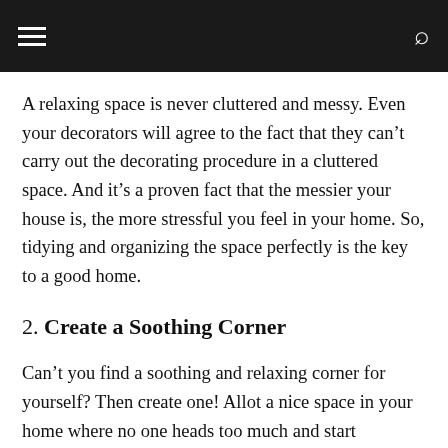≡ [hamburger menu] [search icon]
A relaxing space is never cluttered and messy. Even your decorators will agree to the fact that they can't carry out the decorating procedure in a cluttered space. And it's a proven fact that the messier your house is, the more stressful you feel in your home. So, tidying and organizing the space perfectly is the key to a good home.
2. Create a Soothing Corner
Can't you find a soothing and relaxing corner for yourself? Then create one! Allot a nice space in your home where no one heads too much and start decorating the area. Add a lounger, pouf to put your feel up, a throw to feel cosy, add a bookshelf nearby with your favorite books, a plant to keep your company, some nice